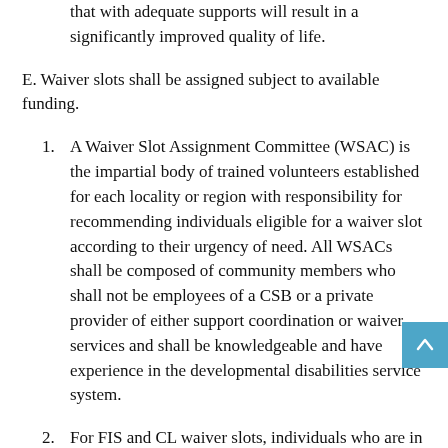c. The individual has needs or desired outcomes that with adequate supports will result in a significantly improved quality of life.
E. Waiver slots shall be assigned subject to available funding.
1. A Waiver Slot Assignment Committee (WSAC) is the impartial body of trained volunteers established for each locality or region with responsibility for recommending individuals eligible for a waiver slot according to their urgency of need. All WSACs shall be composed of community members who shall not be employees of a CSB or a private provider of either support coordination or waiver services and shall be knowledgeable and have experience in the developmental disabilities service system.
2. For FIS and CL waiver slots, individuals who are in the Priority One category who are determined to be most in need of supports at the time a slot is available shall be assigned by an independent WSAC for the